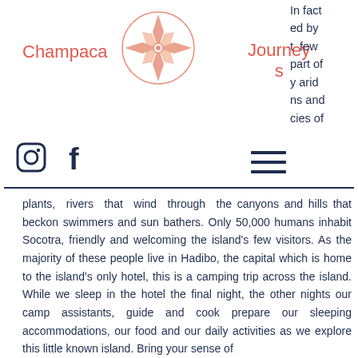Champaca Journeys
[Figure (logo): Champaca Journeys logo with compass rose in salmon/orange colors]
In fact ed by t few part of y arid ns and cies of
[Figure (illustration): Instagram icon]
[Figure (illustration): Facebook icon]
[Figure (illustration): Hamburger menu icon]
plants, rivers that wind through the canyons and hills that beckon swimmers and sun bathers. Only 50,000 humans inhabit Socotra, friendly and welcoming the island's few visitors. As the majority of these people live in Hadibo, the capital which is home to the island's only hotel, this is a camping trip across the island. While we sleep in the hotel the final night, the other nights our camp assistants, guide and cook prepare our sleeping accommodations, our food and our daily activities as we explore this little known island. Bring your sense of